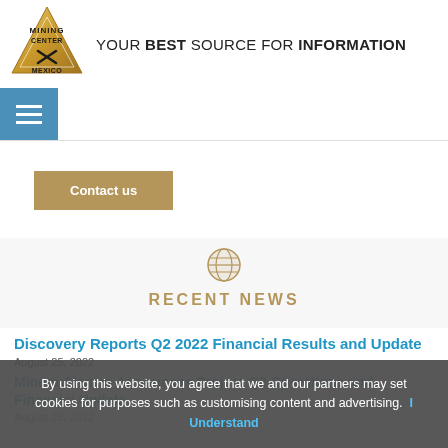[Figure (logo): Mining Center Mexico gold triangle logo with crossed pickaxes]
YOUR BEST SOURCE FOR INFORMATION
[Figure (other): Blue hamburger menu button with three white lines]
Contact us
[Figure (illustration): Gold globe icon]
RECENT NEWS
Discovery Reports Q2 2022 Financial Results and Update
August 25, 2022
Minera Alamos Announces Project Q2 Operations and Financial Update
August 25, 2022
By using this website, you agree that we and our partners may set cookies for purposes such as customising content and advertising.  I Understand